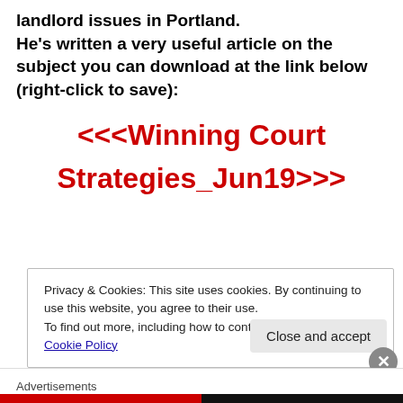landlord issues in Portland. He's written a very useful article on the subject you can download at the link below (right-click to save):
<<<Winning Court Strategies_Jun19>>>
Privacy & Cookies: This site uses cookies. By continuing to use this website, you agree to their use. To find out more, including how to control cookies, see here: Cookie Policy
Close and accept
Advertisements